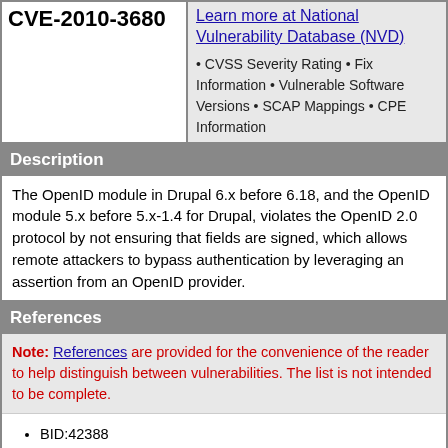CVE-2010-3680
Learn more at National Vulnerability Database (NVD) • CVSS Severity Rating • Fix Information • Vulnerable Software Versions • SCAP Mappings • CPE Information
Description
The OpenID module in Drupal 6.x before 6.18, and the OpenID module 5.x before 5.x-1.4 for Drupal, violates the OpenID 2.0 protocol by not ensuring that fields are signed, which allows remote attackers to bypass authentication by leveraging an assertion from an OpenID provider.
References
Note: References are provided for the convenience of the reader to help distinguish between vulnerabilities. The list is not intended to be complete.
BID:42388
URL:http://www.securityfocus.com/bid/42388
CONFIRM:http://drupal.org/node/880476
CONFIRM:http://drupal.org/node/880480
DEBIAN:DSA-2113
URL:http://www.debian.org/security/2010/dsa-2113